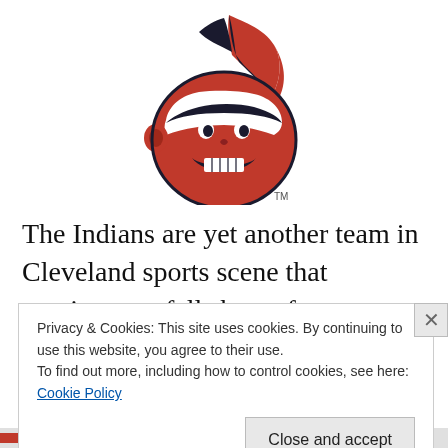[Figure (logo): Cleveland Indians Chief Wahoo logo — cartoon Native American face with red skin, dark hair with feather, grinning teeth, wearing a headband, with TM mark]
The Indians are yet another team in Cleveland sports scene that continues to fall short of expectations. They did the same last year as they would finish second last in the division and needed to make some changes. If it wasn't for
Privacy & Cookies: This site uses cookies. By continuing to use this website, you agree to their use.
To find out more, including how to control cookies, see here: Cookie Policy
Close and accept